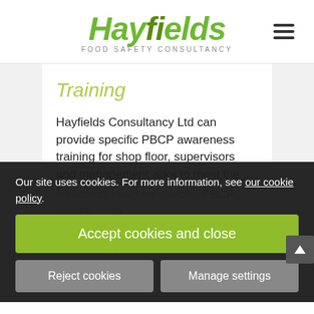[Figure (logo): Hayfields Food Safety Consultancy logo with green text and hamburger menu icon]
Training
Hayfields Consultancy Ltd can provide specific PBCP awareness training for shop floor, supervisors and management alike to meet the standards need for specific PBCP ensure unde... implementing the Plant-Based Global cause analysis, and vulnerability ... sr... fraud risks).
Our site uses cookies. For more information, see our cookie policy.
Accept cookies and close
Reject cookies
Manage settings